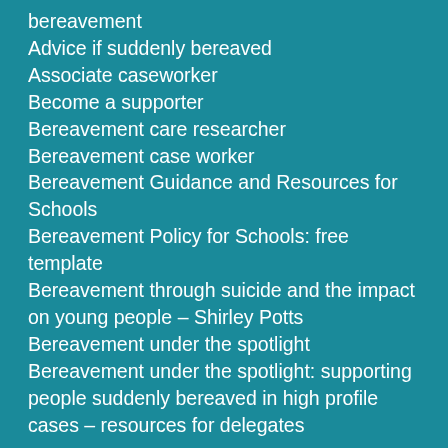bereavement
Advice if suddenly bereaved
Associate caseworker
Become a supporter
Bereavement care researcher
Bereavement case worker
Bereavement Guidance and Resources for Schools
Bereavement Policy for Schools: free template
Bereavement through suicide and the impact on young people – Shirley Potts
Bereavement under the spotlight
Bereavement under the spotlight: supporting people suddenly bereaved in high profile cases – resources for delegates